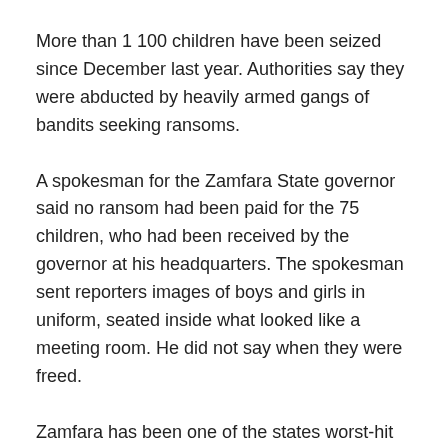More than 1 100 children have been seized since December last year. Authorities say they were abducted by heavily armed gangs of bandits seeking ransoms.
A spokesman for the Zamfara State governor said no ransom had been paid for the 75 children, who had been received by the governor at his headquarters. The spokesman sent reporters images of boys and girls in uniform, seated inside what looked like a meeting room. He did not say when they were freed.
Zamfara has been one of the states worst-hit in the abduction crisis. On 3 September, authorities ordered a phone and internet blackout there while security forces cracked down on the gangs.